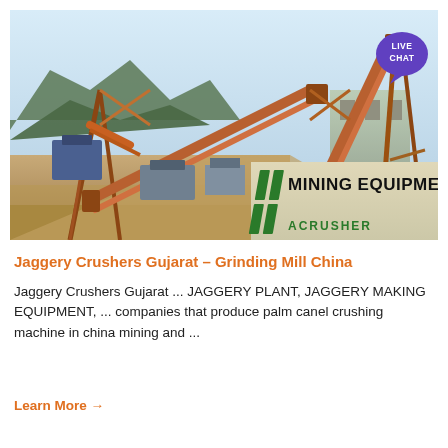[Figure (photo): Photo of a large mining/crushing equipment facility with conveyor belts and orange steel structures. A logo overlay in the bottom right reads 'MINING EQUIPMENT ACRUSHER' with green slash marks. A 'LIVE CHAT' bubble appears in the top right corner.]
Jaggery Crushers Gujarat – Grinding Mill China
Jaggery Crushers Gujarat ... JAGGERY PLANT, JAGGERY MAKING EQUIPMENT, ... companies that produce palm canel crushing machine in china mining and ...
Learn More →